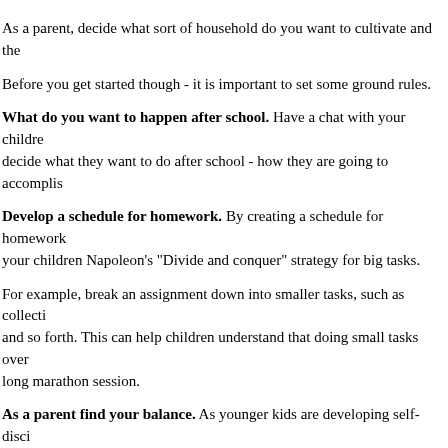As a parent, decide what sort of household do you want to cultivate and the
Before you get started though - it is important to set some ground rules.
What do you want to happen after school. Have a chat with your childre decide what they want to do after school - how they are going to accomplis
Develop a schedule for homework. By creating a schedule for homework your children Napoleon's "Divide and conquer" strategy for big tasks.
For example, break an assignment down into smaller tasks, such as collecti and so forth. This can help children understand that doing small tasks over long marathon session.
As a parent find your balance. As younger kids are developing self-disci they get older it will be important to strike a balance between being a resou
When do homework and study do the children will important to